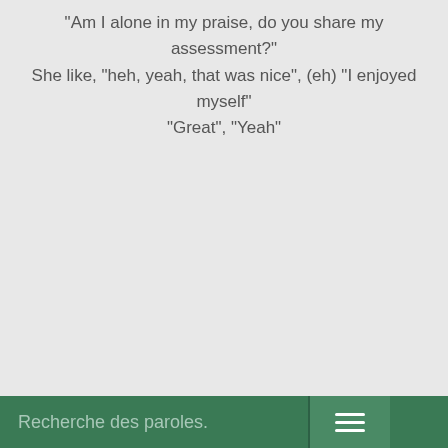"Am I alone in my praise, do you share my assessment?" She like, "heh, yeah, that was nice", (eh) "I enjoyed myself" "Great", "Yeah"
Recherche des paroles.